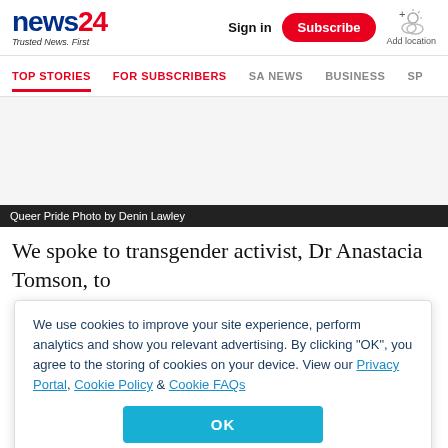news24 Trusted News. First | Sign in | Subscribe | Add location
TOP STORIES | FOR SUBSCRIBERS | SA NEWS | BUSINESS | SP...
[Figure (other): Advertisement/blank space placeholder]
Queer Pride Photo by Denin Lawley
We spoke to transgender activist, Dr Anastacia Tomson, to
We use cookies to improve your site experience, perform analytics and show you relevant advertising. By clicking "OK", you agree to the storing of cookies on your device. View our Privacy Portal, Cookie Policy & Cookie FAQs